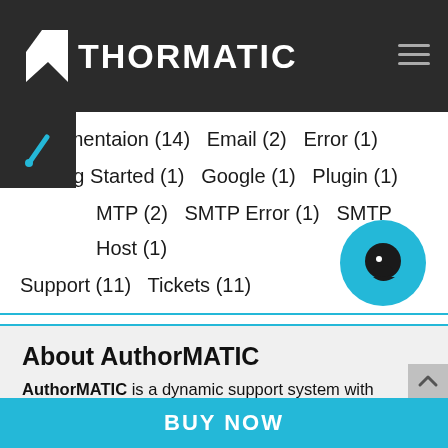NTHORMATIC
Documentaion (14)  Email (2)  Error (1)
Getting Started (1)  Google (1)  Plugin (1)
MTP (2)  SMTP Error (1)  SMTP Host (1)
Support (11)  Tickets (11)
About AuthorMATIC
AuthorMATIC is a dynamic support system with Knowledge Base, Documentation, Frequently Asked Questions, Change Logs, Sales Report and much m
BUY NOW